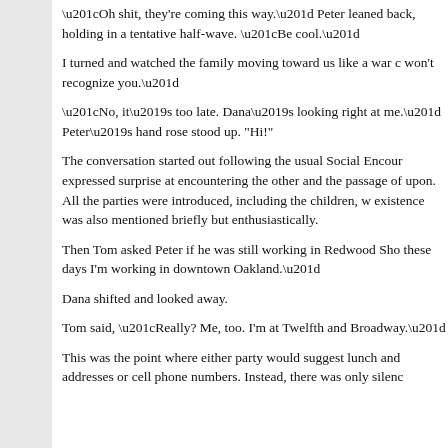“Oh shit, they're coming this way.” Peter leaned back, holding in a tentative half-wave. “Be cool.”
I turned and watched the family moving toward us like a war c won't recognize you.”
“No, it’s too late. Dana’s looking right at me.” Peter’s hand rose stood up. “Hi!”
The conversation started out following the usual Social Encour expressed surprise at encountering the other and the passage of upon. All the parties were introduced, including the children, w existence was also mentioned briefly but enthusiastically.
Then Tom asked Peter if he was still working in Redwood Sho these days I'm working in downtown Oakland.”
Dana shifted and looked away.
Tom said, “Really? Me, too. I'm at Twelfth and Broadway.”
This was the point where either party would suggest lunch and addresses or cell phone numbers. Instead, there was only silenc